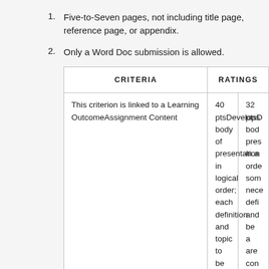1. Five-to-Seven pages, not including title page, reference page, or appendix.
2. Only a Word Doc submission is allowed.
| CRITERIA | RATINGS |  |
| --- | --- | --- |
| This criterion is linked to a Learning OutcomeAssignment Content | 40 ptsDevelops body of presentation in logical order; each definition and topic to be addressed is present; concise information; provides | 32 ptsD body pres in a orde som nece defi and be a are conc info |